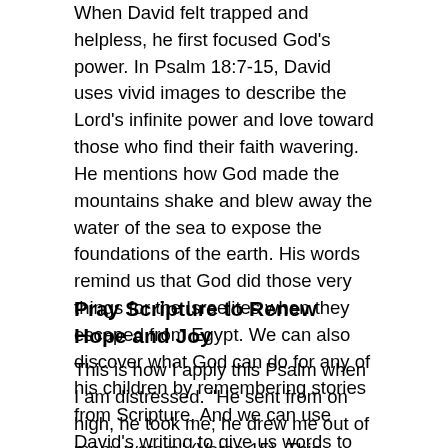When David felt trapped and helpless, he first focused God's power. In Psalm 18:7-15, David uses vivid images to describe the Lord's infinite power and love toward those who find their faith wavering. He mentions how God made the mountains shake and blew away the water of the sea to expose the foundations of the earth. His words remind us that God did those very things for the Israelites when they escaped from Egypt. We can also discover what God can do for any of his children by remembering stories from Scripture. And we can use David's writing to give us words to pray when life is overwhelming.
Pray Scripture to Renew Hope and Joy
This is how I apply this Psalm when I am distressed. "He sent from on high, he took me; he drew me out of many waters" (Verse 15). This reminds me of how God grabbed